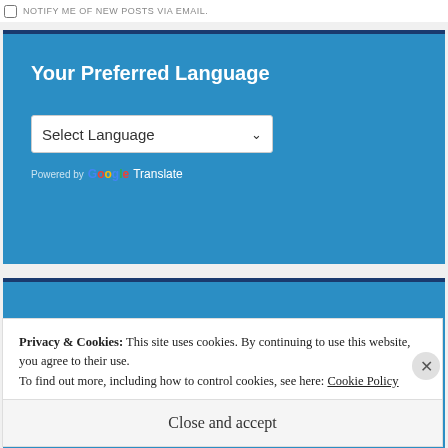NOTIFY ME OF NEW POSTS VIA EMAIL.
Your Preferred Language
Select Language
Powered by Google Translate
Privacy & Cookies: This site uses cookies. By continuing to use this website, you agree to their use.
To find out more, including how to control cookies, see here: Cookie Policy
Close and accept